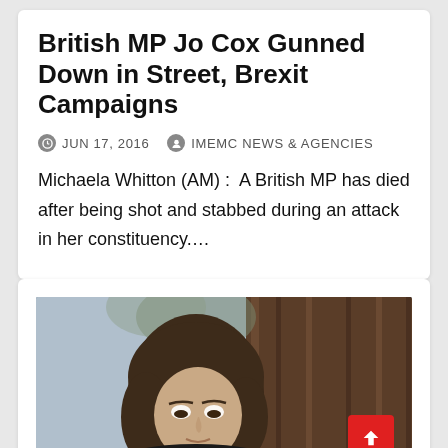British MP Jo Cox Gunned Down in Street, Brexit Campaigns
JUN 17, 2016   IMEMC NEWS & AGENCIES
Michaela Whitton (AM) :  A British MP has died after being shot and stabbed during an attack in her constituency....
[Figure (photo): Photo of a woman with brown hair looking downward, seated at what appears to be a formal setting with dark wood paneling in the background and a blurred blue background]